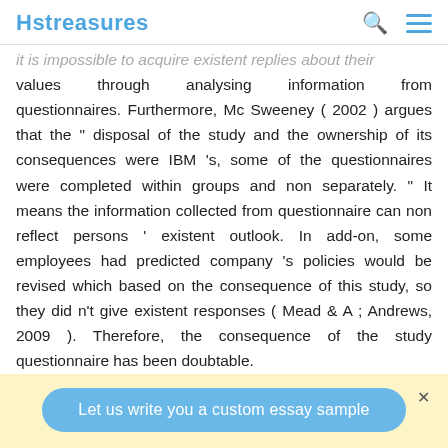Hstreasures
it is impossible to acquire existent replies about their values through analysing information from questionnaires. Furthermore, Mc Sweeney ( 2002 ) argues that the " disposal of the study and the ownership of its consequences were IBM 's, some of the questionnaires were completed within groups and non separately. " It means the information collected from questionnaire can non reflect persons ' existent outlook. In add-on, some employees had predicted company 's policies would be revised which based on the consequence of this study, so they did n't give existent responses ( Mead & A ; Andrews, 2009 ). Therefore, the consequence of the study questionnaire has been doubtable.
Let us write you a custom essay sample